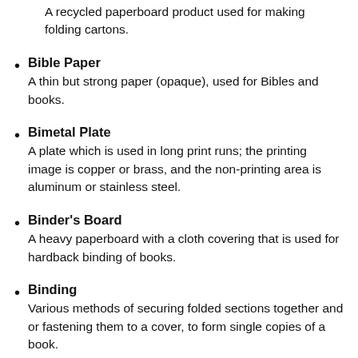A recycled paperboard product used for making folding cartons.
Bible Paper
A thin but strong paper (opaque), used for Bibles and books.
Bimetal Plate
A plate which is used in long print runs; the printing image is copper or brass, and the non-printing area is aluminum or stainless steel.
Binder's Board
A heavy paperboard with a cloth covering that is used for hardback binding of books.
Binding
Various methods of securing folded sections together and or fastening them to a cover, to form single copies of a book.